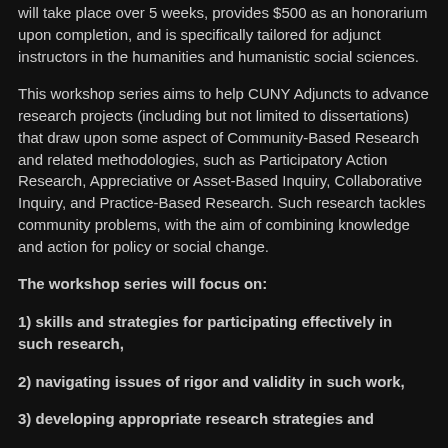will take place over 5 weeks, provides $500 as an honorarium upon completion, and is specifically tailored for adjunct instructors in the humanities and humanistic social sciences.
This workshop series aims to help CUNY Adjuncts to advance research projects (including but not limited to dissertations) that draw upon some aspect of Community-Based Research and related methodologies, such as Participatory Action Research, Appreciative or Asset-Based Inquiry, Collaborative Inquiry, and Practice-Based Research. Such research tackles community problems, with the aim of combining knowledge and action for policy or social change.
The workshop series will focus on:
1) skills and strategies for participating effectively in such research,
2) navigating issues of rigor and validity in such work,
3) developing appropriate research strategies and